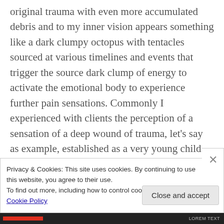original trauma with even more accumulated debris and to my inner vision appears something like a dark clumpy octopus with tentacles sourced at various timelines and events that trigger the source dark clump of energy to activate the emotional body to experience further pain sensations. Commonly I experienced with clients the perception of a sensation of a deep wound of trauma, let's say as example, established as a very young child. The trauma timeline at the age of the child gets
Privacy & Cookies: This site uses cookies. By continuing to use this website, you agree to their use.
To find out more, including how to control cookies, see here: Cookie Policy
Close and accept